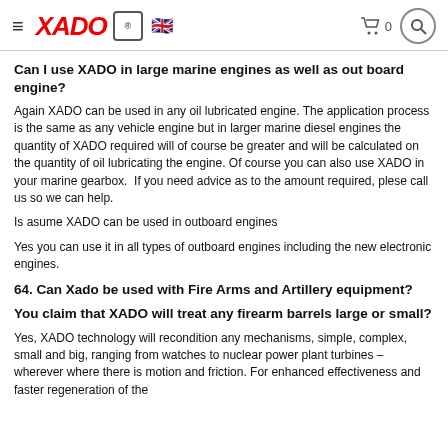XADO [logo] [UK flag] [cart 0] [search]
Can I use XADO in large marine engines as well as out board engine?
Again XADO can be used in any oil lubricated engine. The application process is the same as any vehicle engine but in larger marine diesel engines the quantity of XADO required will of course be greater and will be calculated on the quantity of oil lubricating the engine. Of course you can also use XADO in your marine gearbox.  If you need advice as to the amount required, plese call us so we can help.
Is asume XADO can be used in outboard engines
Yes you can use it in all types of outboard engines including the new electronic engines.
64. Can Xado be used with Fire Arms and Artillery equipment?
You claim that XADO will treat any firearm barrels large or small?
Yes, XADO technology will recondition any mechanisms, simple, complex, small and big, ranging from watches to nuclear power plant turbines – wherever where there is motion and friction. For enhanced effectiveness and faster regeneration of the